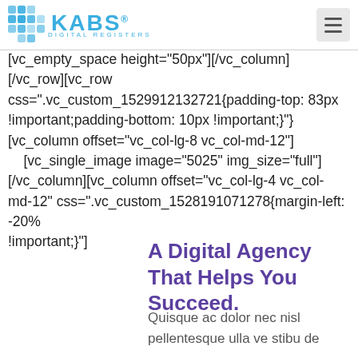KABS - Digital Agency
[vc_empty_space height="50px"][/vc_column][/vc_row][vc_row css=".vc_custom_1529912132721{padding-top: 83px !important;padding-bottom: 10px !important;}"][vc_column offset="vc_col-lg-8 vc_col-md-12"] [vc_single_image image="5025" img_size="full"][/vc_column][vc_column offset="vc_col-lg-4 vc_col-md-12" css=".vc_custom_1528191071278{margin-left: -20% !important;}"]
A Digital Agency That Helps You Succeed.
Quisque ac dolor nec nisl pellentesque ulla ve stibu de